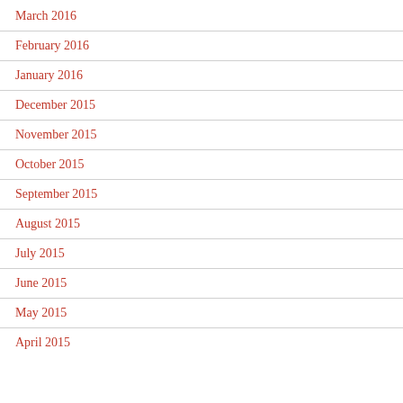March 2016
February 2016
January 2016
December 2015
November 2015
October 2015
September 2015
August 2015
July 2015
June 2015
May 2015
April 2015